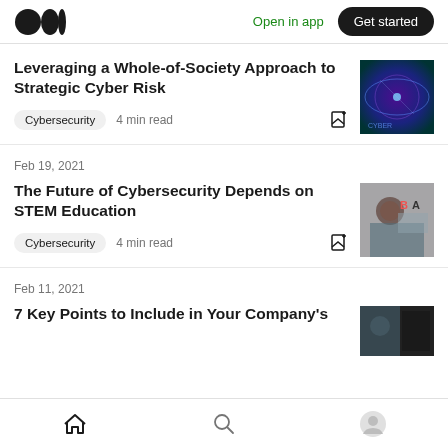Open in app | Get started
Leveraging a Whole-of-Society Approach to Strategic Cyber Risk
Cybersecurity · 4 min read
Feb 19, 2021
The Future of Cybersecurity Depends on STEM Education
Cybersecurity · 4 min read
Feb 11, 2021
7 Key Points to Include in Your Company's
Home | Search | Profile